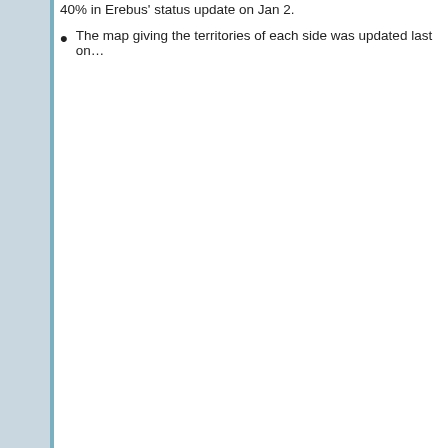40% in Erebus' status update on Jan 2.
The map giving the territories of each side was updated last on...
| Toa Sectra / Wiki |
| --- |
| Toa Sectra: Swert | U... |
| Brotherhood of Turahk: |
| Not Participating: Darnzerf | B... |
| Former/Inactive Toa: Ordahk | Brelze... |
[Figure (screenshot): Black banner area at top of The V File wiki page]
The V File -
THE V FILE
"I know Tomana keeps an archive o... — Kraal..."
Table of Contents--- V File
1) Toa V
1.1) V's Backstory